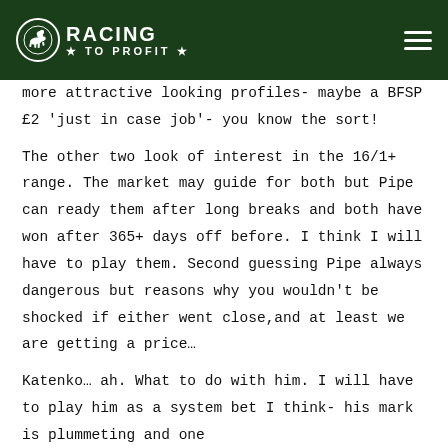Racing To Profit
more attractive looking profiles- maybe a BFSP £2 'just in case job'- you know the sort!
The other two look of interest in the 16/1+ range. The market may guide for both but Pipe can ready them after long breaks and both have won after 365+ days off before. I think I will have to play them. Second guessing Pipe always dangerous but reasons why you wouldn't be shocked if either went close,and at least we are getting a price…
Katenko… ah. What to do with him. I will have to play him as a system bet I think- his mark is plummeting and one